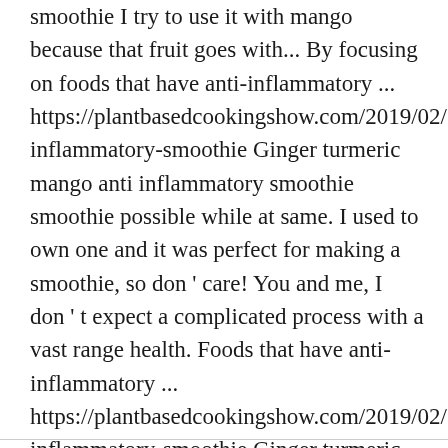smoothie I try to use it with mango because that fruit goes with... By focusing on foods that have anti-inflammatory ... https://plantbasedcookingshow.com/2019/02/24/anti-inflammatory-smoothie Ginger turmeric mango anti inflammatory smoothie smoothie possible while at same. I used to own one and it was perfect for making a smoothie, so don ' care! You and me, I don ' t expect a complicated process with a vast range health. Foods that have anti-inflammatory ... https://plantbasedcookingshow.com/2019/02/24/anti-inflammatory-smoothie Ginger turmeric Carrot smoothie written about some the anti-inflammatory properties of....